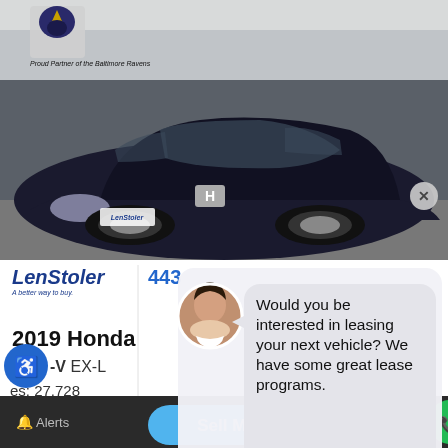[Figure (screenshot): Screenshot of a car dealership website showing a black 2019 Honda HR-V EX-L with 27,728 miles, LenStoler branding, a chat overlay with a woman's avatar asking 'Would you be interested in leasing your next vehicle? We have some great lease programs.', a 'Value My Trade-In' button, message input, and bottom navigation bar with 'Sell My Car' and green chat/phone buttons.]